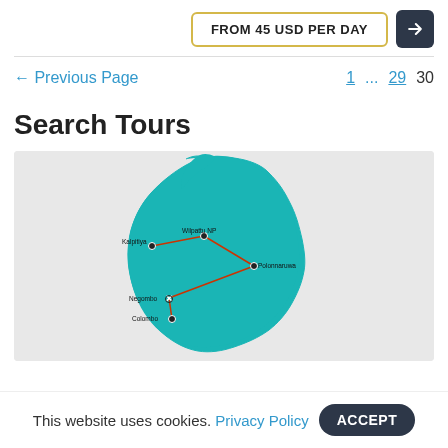FROM 45 USD PER DAY
← Previous Page   1  ...  29  30
Search Tours
[Figure (map): Map of Sri Lanka in teal color with tour route lines connecting cities: Kalpitiya, Wilpattu NP, Polonnaruwa, Negombo (marked with X), and Colombo. Lines are red/orange connecting the points.]
This website uses cookies. Privacy Policy  ACCEPT